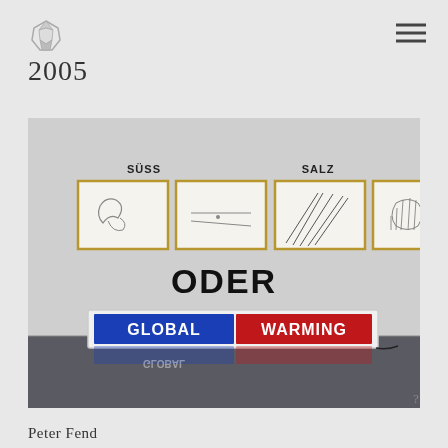[Figure (logo): Small polygonal diamond/crystal shape logo icon in gray]
2005
[Figure (photo): Gallery installation photo showing four framed drawings on a white wall labeled 'SÜSS' (left pair) and 'SALZ' (right pair), with the word 'ODER' in large bold text below the drawings, and a light box sign reading 'GLOBAL WARMING' in bold white text on blue and red background panels on the floor. The sign is reflected on the dark floor.]
Peter Fend